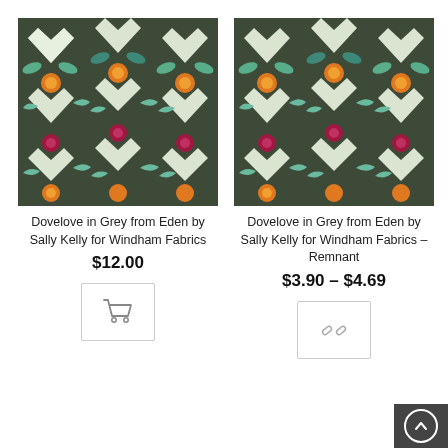[Figure (illustration): Fabric pattern: Dovelove in Grey from Eden - dark grey/green background with repeating pattern of doves, hearts, and orange/red/pink flowers]
Dovelove in Grey from Eden by Sally Kelly for Windham Fabrics
$12.00
[Figure (illustration): Shopping cart icon button in a bordered box]
[Figure (illustration): Fabric pattern: Dovelove in Grey from Eden - same pattern as left product]
Dovelove in Grey from Eden by Sally Kelly for Windham Fabrics – Remnant
$3.90 – $4.69
[Figure (illustration): Broken link / unlink icon button in a bordered box]